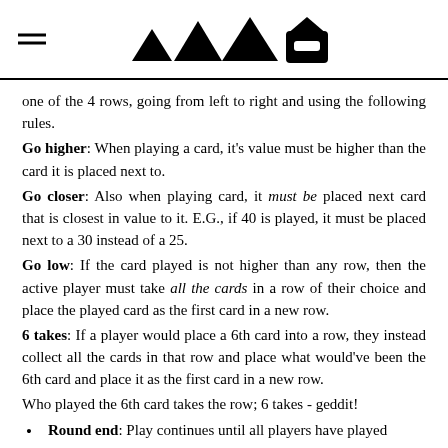▲▲▲▲🎩 (logo icons)
one of the 4 rows, going from left to right and using the following rules.
Go higher: When playing a card, it's value must be higher than the card it is placed next to.
Go closer: Also when playing card, it must be placed next card that is closest in value to it. E.G., if 40 is played, it must be placed next to a 30 instead of a 25.
Go low: If the card played is not higher than any row, then the active player must take all the cards in a row of their choice and place the played card as the first card in a new row.
6 takes: If a player would place a 6th card into a row, they instead collect all the cards in that row and place what would've been the 6th card and place it as the first card in a new row.
Who played the 6th card takes the row; 6 takes - geddit!
Round end: Play continues until all players have played